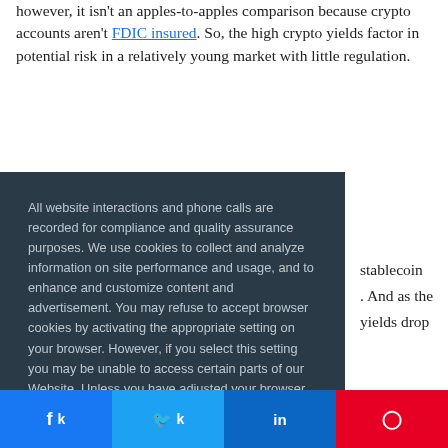however, it isn't an apples-to-apples comparison because crypto accounts aren't FDIC insured. So, the high crypto yields factor in potential risk in a relatively young market with little regulation.
All website interactions and phone calls are recorded for compliance and quality assurance purposes. We use cookies to collect and analyze information on site performance and usage, and to enhance and customize content and advertisement. You may refuse to accept browser cookies by activating the appropriate setting on your browser. However, if you select this setting you may be unable to access certain parts of our Website. Unless you have adjusted your browser setting so that it will refuse cookies, and by continuing to use our website, you agree that our system will issue cookies when you direct your browser to our Website.
stablecoin
. And as the
yields drop
ted in buying
s bitcoin or
pin could be a
xposure to a
ncial goals and